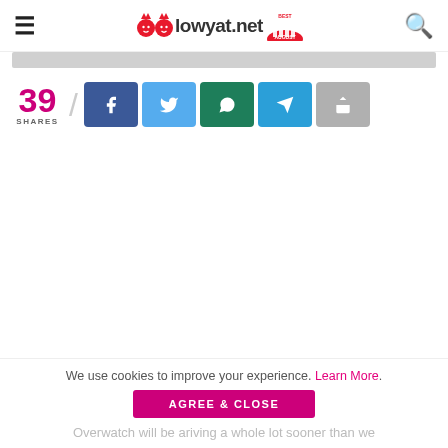lowyat.net
[Figure (other): Gray placeholder bar below header]
39 SHARES
[Figure (other): Social share buttons: Facebook, Twitter, WhatsApp, Telegram, Share]
We use cookies to improve your experience. Learn More.
AGREE & CLOSE
Overwatch will be arriving a whole lot sooner than we